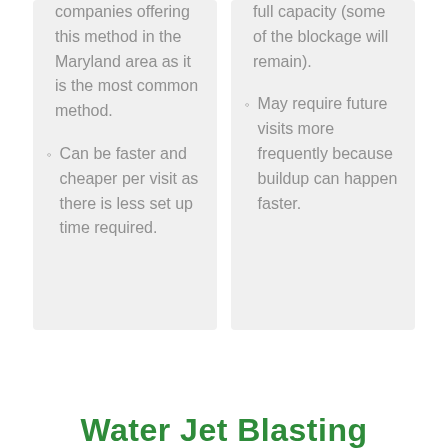companies offering this method in the Maryland area as it is the most common method.
Can be faster and cheaper per visit as there is less set up time required.
full capacity (some of the blockage will remain).
May require future visits more frequently because buildup can happen faster.
Water Jet Blasting